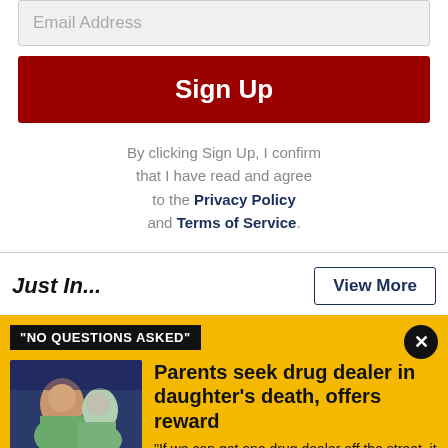Email Address
Sign Up
By clicking Sign Up, I confirm that I have read and agree to the Privacy Policy and Terms of Service.
Just In...
View More
"NO QUESTIONS ASKED"
[Figure (photo): Photo of two people, a woman and a man, smiling at an event]
Parents seek drug dealer in daughter's death, offers reward
"If we can get one drug dealer off the street, it is our hope that we can save one life."